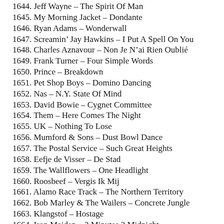1644. Jeff Wayne – The Spirit Of Man
1645. My Morning Jacket – Dondante
1646. Ryan Adams – Wonderwall
1647. Screamin' Jay Hawkins – I Put A Spell On You
1648. Charles Aznavour – Non Je N'ai Rien Oublié
1649. Frank Turner – Four Simple Words
1650. Prince – Breakdown
1651. Pet Shop Boys – Domino Dancing
1652. Nas – N.Y. State Of Mind
1653. David Bowie – Cygnet Committee
1654. Them – Here Comes The Night
1655. UK – Nothing To Lose
1656. Mumford & Sons – Dust Bowl Dance
1657. The Postal Service – Such Great Heights
1658. Eefje de Visser – De Stad
1659. The Wallflowers – One Headlight
1660. Roosbeef – Vergis Ik Mij
1661. Alamo Race Track – The Northern Territory
1662. Bob Marley & The Wailers – Concrete Jungle
1663. Klangstof – Hostage
1664. Iron Maiden – 2 Minutes 2 Midnight
1665. Calexico – The Black Light